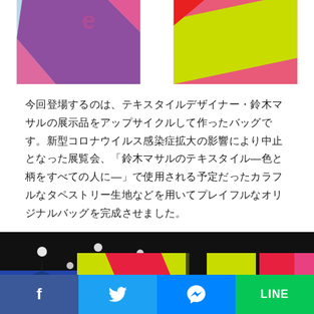[Figure (photo): Two colorful fabric bags cropped at top — left bag has purple, pink, and light blue diagonal panels; right bag has pink, yellow-green, and red panels]
今回登場するのは、テキスタイルデザイナー・鈴木マサルの展示品をアップサイクルして作ったバッグです。新型コロナウイルス感染症拡大の影響により中止となった展覧会、「鈴木マサルのテキスタイル—色と柄をすべての人に—」で使用される予定だったカラフルなタペストリー生地などを用いてプレイフルなオリジナルバッグを完成させました。
[Figure (photo): Interior of a large exhibition hall with dark ceiling and spotlights, featuring large colorful tapestry curtains in yellow-green, red, pink, and blue hanging from the ceiling]
f  [Facebook]  [Twitter]  [Messenger]  LINE